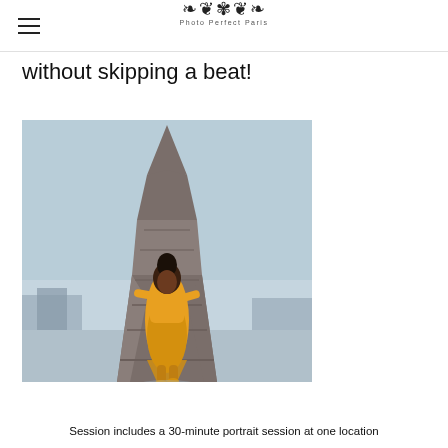Photo Perfect Paris
without skipping a beat!
[Figure (photo): Woman in a mustard yellow dress walking confidently in front of the Eiffel Tower in Paris on a misty day.]
Session includes a 30-minute portrait session at one location